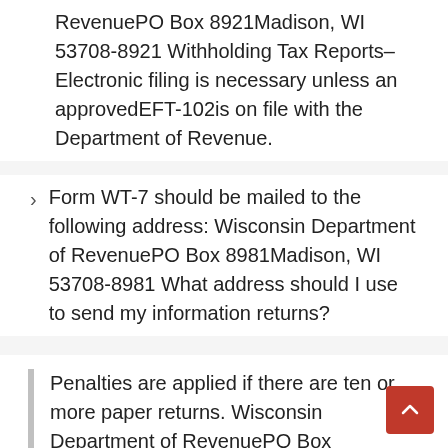RevenuePO Box 8921Madison, WI 53708-8921 Withholding Tax Reports– Electronic filing is necessary unless an approvedEFT-102is on file with the Department of Revenue.
Form WT-7 should be mailed to the following address: Wisconsin Department of RevenuePO Box 8981Madison, WI 53708-8981 What address should I use to send my information returns?
Penalties are applied if there are ten or more paper returns. Wisconsin Department of RevenuePO Box